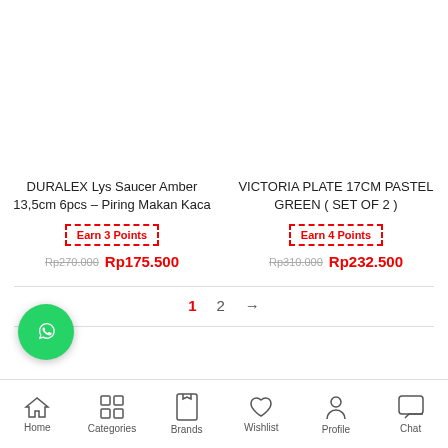DURALEX Lys Saucer Amber 13,5cm 6pcs – Piring Makan Kaca
Earn 3 Points
Rp270.000 Rp175.500
VICTORIA PLATE 17CM PASTEL GREEN ( SET OF 2 )
Earn 4 Points
Rp310.000 Rp232.500
1  2  →
Home  Categories  Brands  Wishlist  Profile  Chat